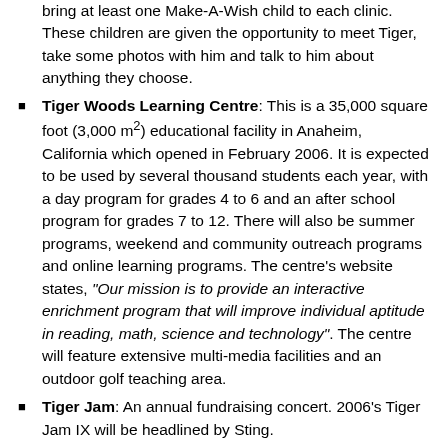bring at least one Make-A-Wish child to each clinic. These children are given the opportunity to meet Tiger, take some photos with him and talk to him about anything they choose.
Tiger Woods Learning Centre: This is a 35,000 square foot (3,000 m²) educational facility in Anaheim, California which opened in February 2006. It is expected to be used by several thousand students each year, with a day program for grades 4 to 6 and an after school program for grades 7 to 12. There will also be summer programs, weekend and community outreach programs and online learning programs. The centre's website states, "Our mission is to provide an interactive enrichment program that will improve individual aptitude in reading, math, science and technology". The centre will feature extensive multi-media facilities and an outdoor golf teaching area.
Tiger Jam: An annual fundraising concert. 2006's Tiger Jam IX will be headlined by Sting.
Target World Challenge: An annual off-season charity golf tournament. The event also carries generous prize money, but Woods donates his winnings to his foundation.
Tiger Woods Foundation National Junior Golf Team: An eighteen member team which competes in the annual Junior World Golf Championships.
Woods has also participated in charity work for his current caddy, Steve Williams. On April 24, 2006 Woods won an auto racing event that